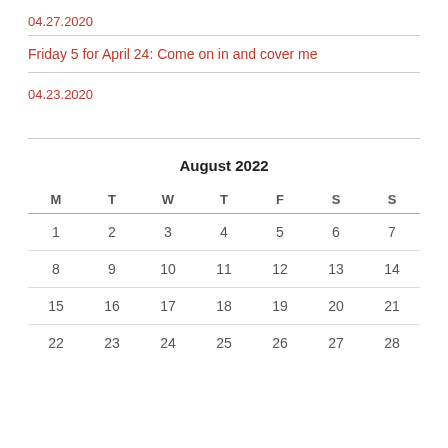04.27.2020
Friday 5 for April 24: Come on in and cover me
04.23.2020
| M | T | W | T | F | S | S |
| --- | --- | --- | --- | --- | --- | --- |
| 1 | 2 | 3 | 4 | 5 | 6 | 7 |
| 8 | 9 | 10 | 11 | 12 | 13 | 14 |
| 15 | 16 | 17 | 18 | 19 | 20 | 21 |
| 22 | 23 | 24 | 25 | 26 | 27 | 28 |